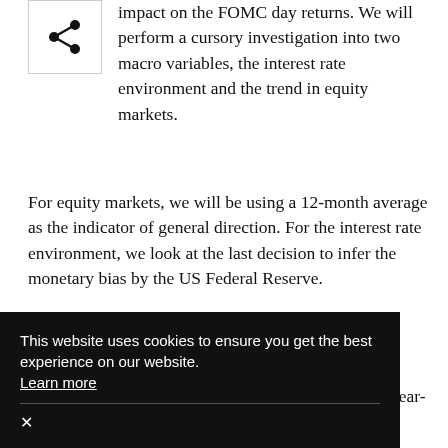[Figure (other): Share icon inside a square border]
impact on the FOMC day returns. We will perform a cursory investigation into two macro variables, the interest rate environment and the trend in equity markets.
For equity markets, we will be using a 12-month average as the indicator of general direction. For the interest rate environment, we look at the last decision to infer the monetary bias by the US Federal Reserve.
Equity market direction
We set up a quick momentum study, examining the year-on-year equity market direction prior to the meeting (using monthly data). While not a sophisticated momentum indicator, it is fairly robust and gives an indication of whether the market is moving up
rcentage return on each of the FOMC days is approximately the more. Prior to the FOMC decision, calls
This website uses cookies to ensure you get the best experience on our website. Learn more ×